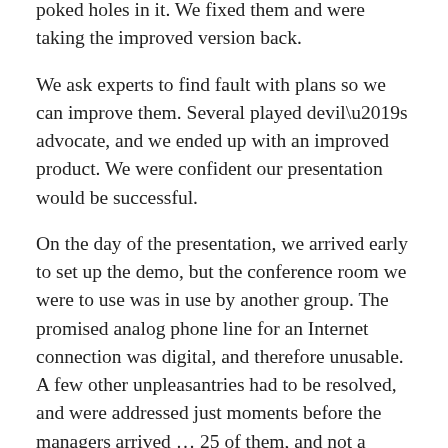poked holes in it. We fixed them and were taking the improved version back.
We ask experts to find fault with plans so we can improve them. Several played devil’s advocate, and we ended up with an improved product. We were confident our presentation would be successful.
On the day of the presentation, we arrived early to set up the demo, but the conference room we were to use was in use by another group. The promised analog phone line for an Internet connection was digital, and therefore unusable. A few other unpleasantries had to be resolved, and were addressed just moments before the managers arrived … 25 of them, and not a smile on one face.
We were only a short way into the presentation when the pointed questions began. These were not questions of inquiry, but of challenge. This was a